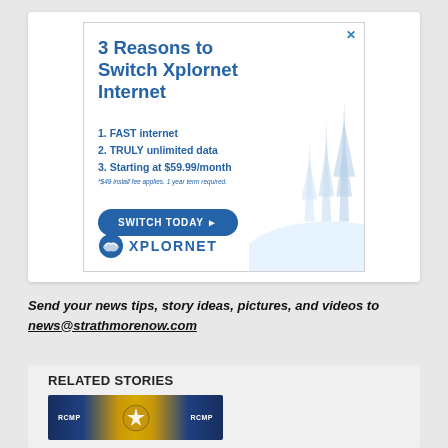[Figure (illustration): Xplornet Internet advertisement banner with blue text on white background, showing pine trees illustration on the right side. Contains title '3 Reasons to Switch Xplornet Internet', list of 3 reasons, a 'SWITCH TODAY' button, and Xplornet logo.]
Send your news tips, story ideas, pictures, and videos to news@strathmorenow.com
RELATED STORIES
[Figure (photo): RCMP banner image showing RCMP logo/crest with gold/yellow emblem on dark blue background with RCMP text on both sides]